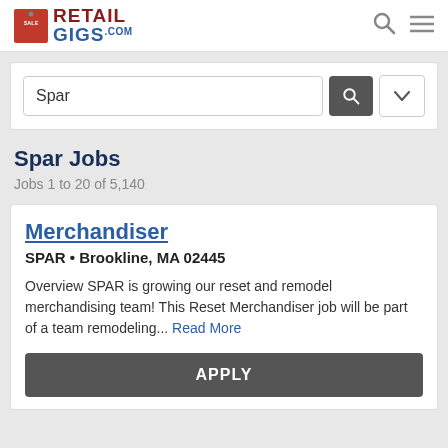RETAIL GIGS .com
Spar
Spar Jobs
Jobs 1 to 20 of 5,140
Merchandiser
SPAR • Brookline, MA 02445
Overview SPAR is growing our reset and remodel merchandising team! This Reset Merchandiser job will be part of a team remodeling... Read More
APPLY